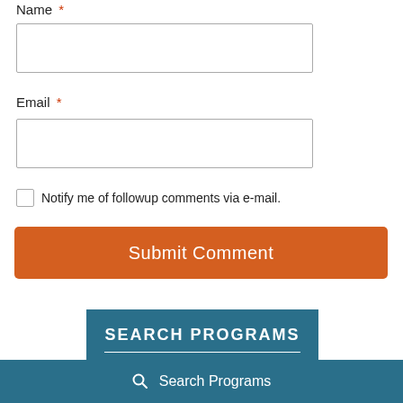Name *
Email *
Notify me of followup comments via e-mail.
Submit Comment
SEARCH PROGRAMS
Search Programs